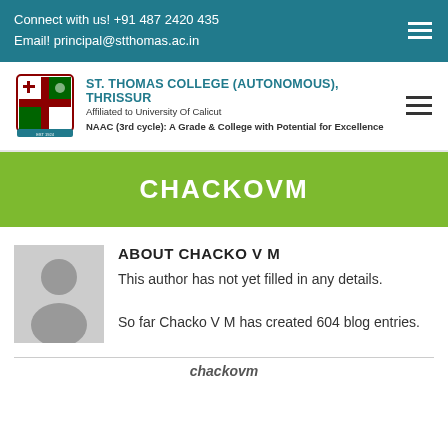Connect with us! +91 487 2420 435
Email! principal@stthomas.ac.in
[Figure (logo): St. Thomas College crest/logo]
ST. THOMAS COLLEGE (AUTONOMOUS), THRISSUR
Affiliated to University Of Calicut
NAAC (3rd cycle): A Grade & College with Potential for Excellence
CHACKOVM
[Figure (photo): Generic grey avatar/silhouette profile image]
ABOUT CHACKO V M
This author has not yet filled in any details.
So far Chacko V M has created 604 blog entries.
chackovm